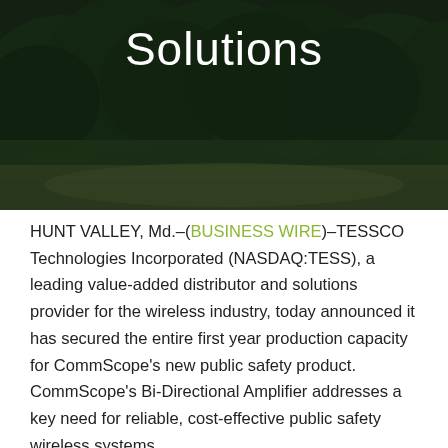[Figure (photo): Outdoor landscape photograph showing trees and a grassy field with a dark overlay. The word 'Solutions' is displayed in white text overlaid on the photo.]
Solutions
HUNT VALLEY, Md.–(BUSINESS WIRE)–TESSCO Technologies Incorporated (NASDAQ:TESS), a leading value-added distributor and solutions provider for the wireless industry, today announced it has secured the entire first year production capacity for CommScope's new public safety product. CommScope's Bi-Directional Amplifier addresses a key need for reliable, cost-effective public safety wireless systems.
State and local building authorities are